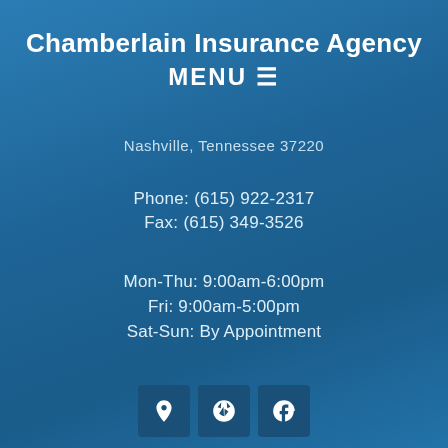Chamberlain Insurance Agency
MENU ≡
Nashville, Tennessee 37220
Phone: (615) 922-2317
Fax: (615) 349-3526
Mon-Thu: 9:00am-6:00pm
Fri: 9:00am-5:00pm
Sat-Sun: By Appointment
[Figure (other): Three social media/contact icon buttons: map pin (Google Maps), Yelp star, and Facebook logo]